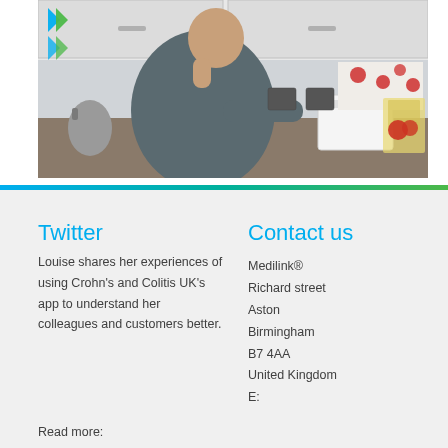[Figure (photo): A man standing in a kitchen, looking at a white box on the counter. Kitchen has white cabinets, a kettle, power sockets, and red floral tiles visible in background. Green and blue chevron logo visible top-left.]
Twitter
Louise shares her experiences of using Crohn's and Colitis UK's app to understand her colleagues and customers better.
Read more:
Contact us
Medilink®
Richard street
Aston
Birmingham
B7 4AA
United Kingdom
E: